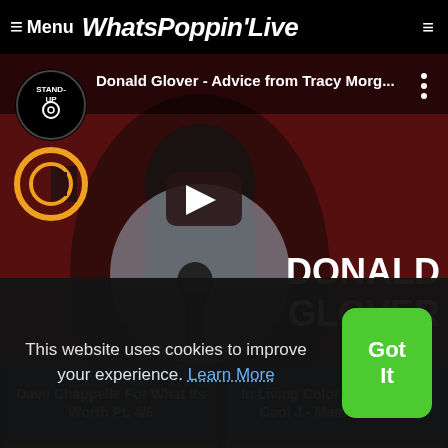≡ Menu WhatsPoppin'Live
[Figure (screenshot): Video thumbnail for 'Donald Glover - Advice from Tracy Morg...' on Stand-Up Comedy Central channel, showing a young Black man holding a microphone with a red background, play button overlay, and 'DONALD GLOVER' text on the right side.]
Donald Glover - Advice from Tracy Morg...
DONALD GLOVER
Dave Chappelle For What Its Worth Pt. 4/6
In Living Color Parody of LL Cool J - Mama Said Kn
This website uses cookies to improve your experience. Learn More